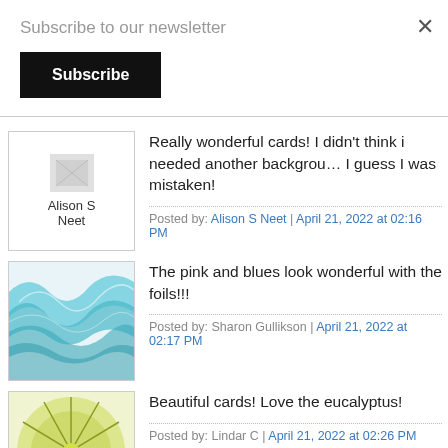Subscribe to our newsletter
Subscribe
Really wonderful cards! I didn't think i needed another background... I guess I was mistaken!
Posted by: Alison S Neet | April 21, 2022 at 02:16 PM
The pink and blues look wonderful with the foils!!!
Posted by: Sharon Gullikson | April 21, 2022 at 02:17 PM
Beautiful cards! Love the eucalyptus!
Posted by: Lindar C | April 21, 2022 at 02:26 PM
Beautiful job with all of your cards. So pretty.... tyfs :)